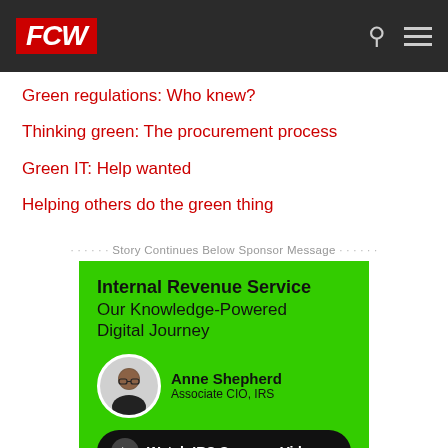FCW
Green regulations: Who knew?
Thinking green: The procurement process
Green IT: Help wanted
Helping others do the green thing
Story Continues Below Sponsor Message
[Figure (infographic): IRS advertisement: Internal Revenue Service - Our Knowledge-Powered Digital Journey. Features Anne Shepherd, Associate CIO, IRS. Includes a 'Watch IRS Success Video' call-to-action button. Green background.]